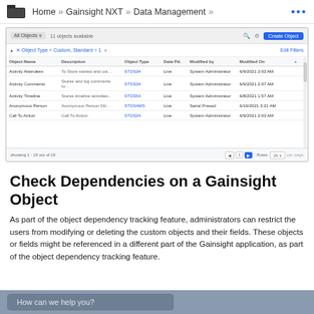Home » Gainsight NXT » Data Management »
[Figure (screenshot): Screenshot of Gainsight NXT Data Management UI showing a table with columns: Object Name, Description, Object Type, Data Pd, Modified by, Modified On. Rows include: Activity Attendees, Activity Comments, Activity Timeline, Anonymous Person, Call To Action. Pagination at bottom. Filter row showing Object Type = Custom, Standard = 1.]
Check Dependencies on a Gainsight Object
As part of the object dependency tracking feature, administrators can restrict the users from modifying or deleting the custom objects and their fields. These objects or fields might be referenced in a different part of the Gainsight application, as part of the object dependency tracking feature.
How can we help you?